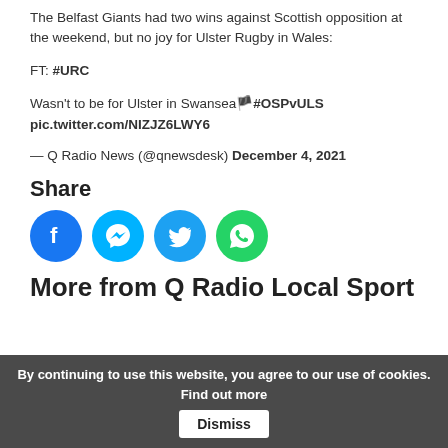The Belfast Giants had two wins against Scottish opposition at the weekend, but no joy for Ulster Rugby in Wales:
FT: #URC
Wasn't to be for Ulster in Swansea🏴 #OSPvULS pic.twitter.com/NIZJZ6LWY6
— Q Radio News (@qnewsdesk) December 4, 2021
Share
[Figure (infographic): Four social media share buttons: Facebook (blue circle), Messenger (cyan circle), Twitter (blue circle), WhatsApp (green circle)]
More from Q Radio Local Sport
By continuing to use this website, you agree to our use of cookies. Find out more  Dismiss